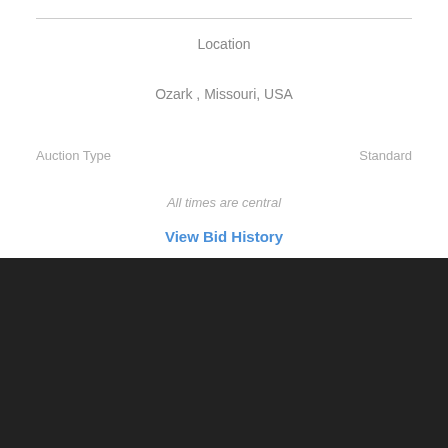Location
Ozark , Missouri, USA
Auction Type    Standard
All times are central
View Bid History
[Figure (logo): iPigeon logo on blue background with tagline 'Where you get results']
About   Buying   Selling   FAQ
Copyright © 2022 iPigeon